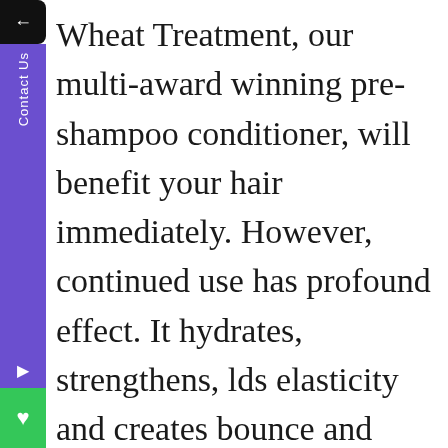Wheat Treatment, our multi-award winning pre-shampoo conditioner, will benefit your hair immediately. However, continued use has profound effect. It hydrates, strengthens, builds elasticity and creates bounce and manageability. This allows hair to grow longer, stronger and healthier.
Turn Down The Heat
Applying heat to already dried hair can actually boil the water in your hair's cortex